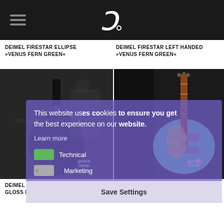Deimel Guitarworks website header with logo and hamburger menu
DEIMEL FIRESTAR ELLIPSE »VENUS FERN GREEN«
DEIMEL FIRESTAR LEFT HANDED »VENUS FERN GREEN«
[Figure (photo): Photo of a black Deimel Firestar Ellipse guitar, workshop setting]
[Figure (photo): Photo of a teal/green left-handed Deimel Firestar guitar]
This website uses cookies to ensure you get the best experience on our website. Learn more Technical Marketing Save Settings
DEIMEL FIRESTAR LEFTY »HIGH GLOSS BLACK«
DEIMEL FIRESTAR LEFTY »LAGUNA BAY«